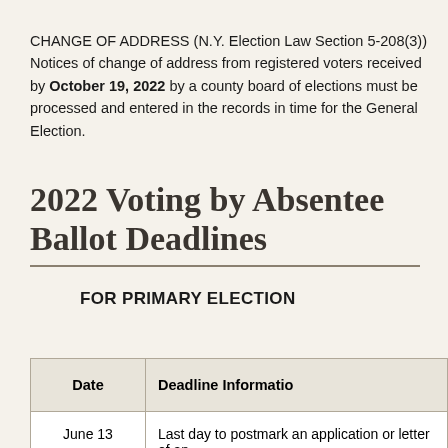CHANGE OF ADDRESS (N.Y. Election Law Section 5-208(3))
Notices of change of address from registered voters received by October 19, 2022 by a county board of elections must be processed and entered in the records in time for the General Election.
2022 Voting by Absentee Ballot Deadlines
FOR PRIMARY ELECTION
| Date | Deadline Information |
| --- | --- |
| June 13 | Last day to postmark an application or letter of an... |